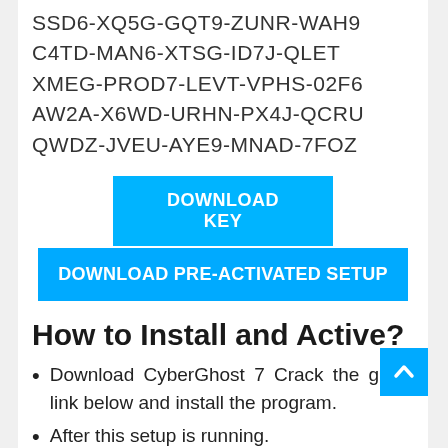SSD6-XQ5G-GQT9-ZUNR-WAH9
C4TD-MAN6-XTSG-ID7J-QLET
XMEG-PROD7-LEVT-VPHS-02F6
AW2A-X6WD-URHN-PX4J-QCRU
QWDZ-JVEU-AYE9-MNAD-7FOZ
[Figure (other): Blue button labeled DOWNLOAD KEY]
[Figure (other): Blue button labeled DOWNLOAD PRE-ACTIVATED SETUP]
How to Install and Active?
Download CyberGhost 7 Crack the given link below and install the program.
After this setup is running.
Exit the program if any program is running then run it.